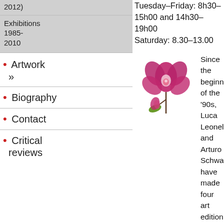2012)
Exhibitions 1985-2010
• Artwork »
• Biography
• Contact
• Critical reviews
Tuesday–Friday: 8h30–15h00 and 14h30–19h00
Saturday: 8.30–13.00
[Figure (photo): Pink/magenta orchid flower on a branch]
Since the beginning of the '90s, Luca Leonelli and Arturo Schwarz have made four art editions — two in multiple copies and two single-copy works, — fruit of a long artistic collaboration and a magistral touch in editing and controlling the printing process.
[Figure (illustration): Sketch/line drawing of small animals or figures]
We can enjoy these fruits at ease, with the loose pages exhibited in separate frames, which turns each of them into a little theatre; this enhances the "aura" of the images and the accompanying text, which both ask us to slow down to take them in — instead of leafing through a bound volume